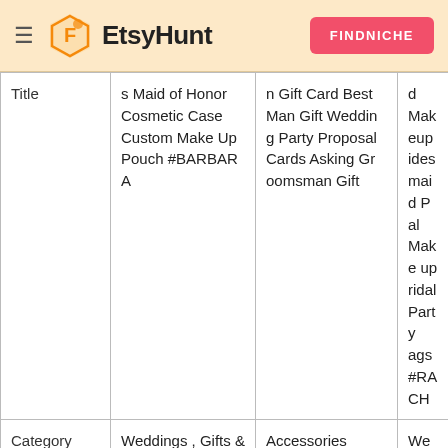EtsyHunt | FINDNICHE
|  | Col1 | Col2 | Col3 |
| --- | --- | --- | --- |
| Title | s Maid of Honor Cosmetic Case Custom Make Up Pouch #BARBARA | n Gift Card Best Man Gift Wedding Party Proposal Cards Asking Groomsman Gift | d Makeup idesmaid P al Make up ridal Party ags #RACH |
| Category Path | Weddings , Gifts & Mementos , Bridesmaids' Gifts | Accessories | Weddings Gifts & Mer s , Bridesmaids , Bridesmaids osals |
|  |  | Groomsmen Proposal, Will you b | Maid of Ho |